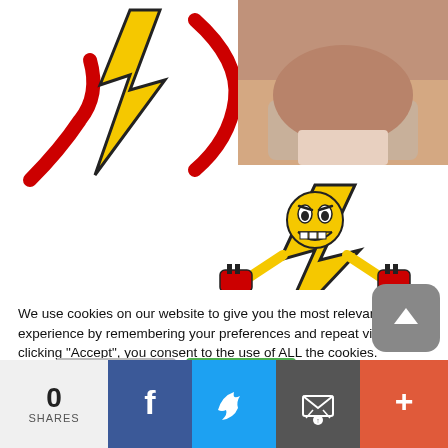[Figure (illustration): Lightning bolt graphic with red and yellow coloring, partially cropped on the left side]
[Figure (photo): Close-up photo of a person lying down, warm skin tones]
[Figure (illustration): Yellow lightning bolt cartoon mascot character holding red electrical plugs/connectors, with angry/grinning face]
We use cookies on our website to give you the most relevant experience by remembering your preferences and repeat visits. By clicking “Accept”, you consent to the use of ALL the cookies.
Do not sell my personal information.